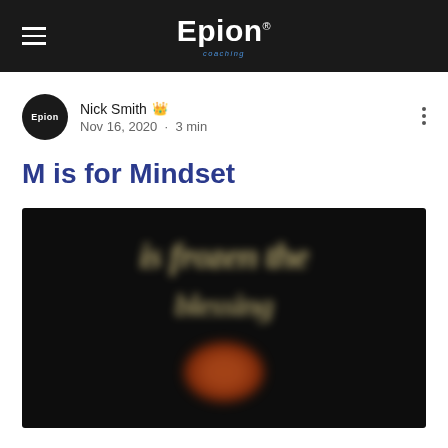Epion
Nick Smith · Nov 16, 2020 · 3 min
M is for Mindset
[Figure (photo): Blurred dark background image with yellow/gold italic text and an orange/red figure at the bottom, content obscured by blur effect]